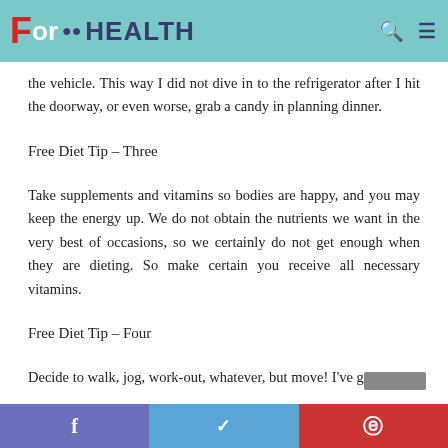ForHEALTH
the vehicle. This way I did not dive in to the refrigerator after I hit the doorway, or even worse, grab a candy in planning dinner.
Free Diet Tip – Three
Take supplements and vitamins so bodies are happy, and you may keep the energy up. We do not obtain the nutrients we want in the very best of occasions, so we certainly do not get enough when they are dieting. So make certain you receive all necessary vitamins.
Free Diet Tip – Four
Decide to walk, jog, work-out, whatever, but move! I've got a
f  t  p